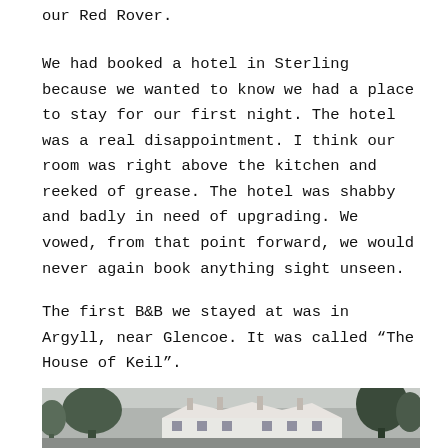our Red Rover.
We had booked a hotel in Sterling because we wanted to know we had a place to stay for our first night. The hotel was a real disappointment. I think our room was right above the kitchen and reeked of grease. The hotel was shabby and badly in need of upgrading. We vowed, from that point forward, we would never again book anything sight unseen.
The first B&B we stayed at was in Argyll, near Glencoe. It was called "The House of Keil".
[Figure (photo): Exterior photograph of a large country house or estate building with white walls and multiple chimneys, surrounded by trees on either side, taken on an overcast day.]